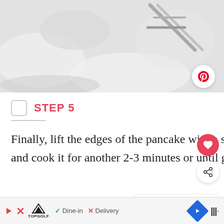[Figure (photo): Top-down photo of kitchen surface with whisk and flour/powder on light gray background]
STEP 5
Finally, lift the edges of the pancake with a spatula, flip it, and cook it for another 2-3 minutes or until golden.
Repeat step 4 and 5 until you have used all the
Dine-in  Delivery  [TopGolf ad bar]